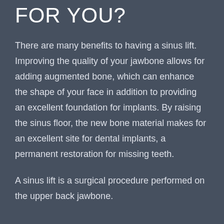FOR YOU?
There are many benefits to having a sinus lift. Improving the quality of your jawbone allows for adding augmented bone, which can enhance the shape of your face in addition to providing an excellent foundation for implants. By raising the sinus floor, the new bone material makes for an excellent site for dental implants, a permanent restoration for missing teeth.
A sinus lift is a surgical procedure performed on the upper back jawbone.